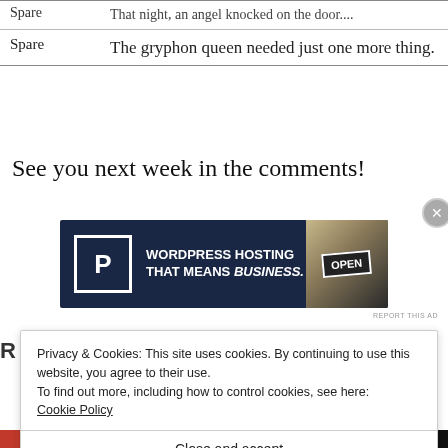|  |  |
| --- | --- |
| Spare | That night, an angel knocked on the door.... |
| Spare | The gryphon queen needed just one more thing. |
See you next week in the comments!
[Figure (infographic): WordPress Hosting advertisement banner with navy background, P icon, text 'WORDPRESS HOSTING THAT MEANS BUSINESS.' and an OPEN sign photo on the right.]
Privacy & Cookies: This site uses cookies. By continuing to use this website, you agree to their use.
To find out more, including how to control cookies, see here:
Cookie Policy
Close and accept